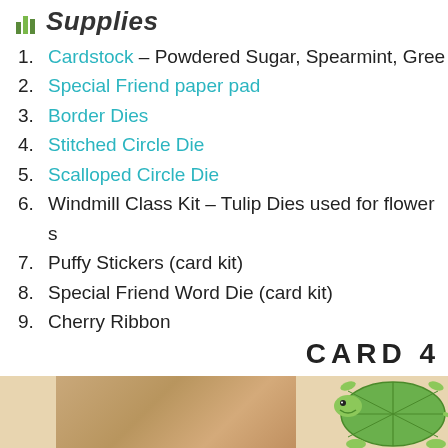Supplies
Cardstock – Powdered Sugar, Spearmint, Gree...
Special Friend paper pad
Border Dies
Stitched Circle Die
Scalloped Circle Die
Windmill Class Kit – Tulip Dies used for flower s...
Puffy Stickers (card kit)
Special Friend Word Die (card kit)
Cherry Ribbon
CARD 4
[Figure (photo): Bottom portion of the page showing a turtle sticker/illustration on a wooden background, partially visible.]